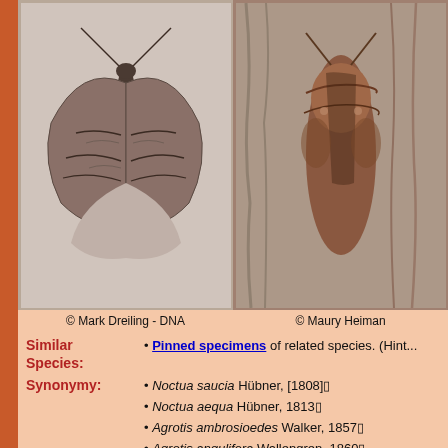[Figure (photo): Left photo of a moth (Agrotis ipsilon or similar noctuid) with wings spread, top-down view on light background. Copyright Mark Dreiling - DNA]
[Figure (photo): Right close-up photo of a moth at rest on bark/sandy surface. Copyright Maury Heiman]
© Mark Dreiling - DNA
© Maury Heiman
Similar Species:
Pinned specimens of related species. (Hint...)
Synonymy:
Noctua saucia Hübner, [1808]
Noctua aequa Hübner, 1813
Agrotis ambrosioedes Walker, 1857
Agrotis angulifera Wallengren, 1860